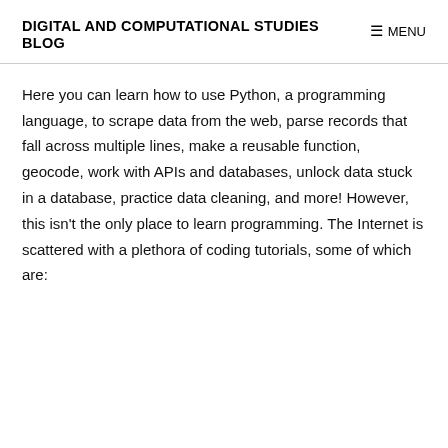DIGITAL AND COMPUTATIONAL STUDIES BLOG
MENU
Here you can learn how to use Python, a programming language, to scrape data from the web, parse records that fall across multiple lines, make a reusable function, geocode, work with APIs and databases, unlock data stuck in a database, practice data cleaning, and more! However, this isn't the only place to learn programming. The Internet is scattered with a plethora of coding tutorials, some of which are: